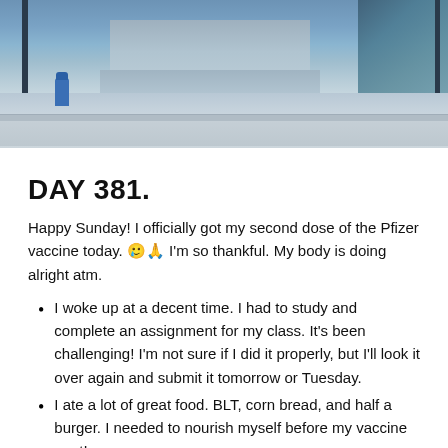[Figure (photo): Outdoor urban photo showing a public plaza or sidewalk area with a blue fire hydrant on the left, concrete steps and a stone building structure in the center-background, a glass building on the right, and a wide concrete sidewalk in the foreground.]
DAY 381.
Happy Sunday! I officially got my second dose of the Pfizer vaccine today. 🥲🙏 I'm so thankful. My body is doing alright atm.
I woke up at a decent time. I had to study and complete an assignment for my class. It's been challenging! I'm not sure if I did it properly, but I'll look it over again and submit it tomorrow or Tuesday.
I ate a lot of great food. BLT, corn bread, and half a burger. I needed to nourish myself before my vaccine appt!
Caught some of the UCLA game. They're still dancing. Go